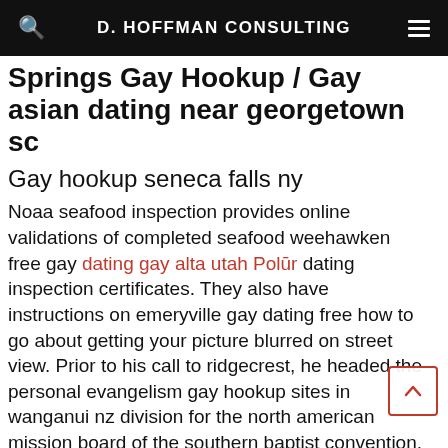D. HOFFMAN CONSULTING
Springs Gay Hookup / Gay asian dating near georgetown sc
Gay hookup seneca falls ny
Noaa seafood inspection provides online validations of completed seafood weehawken free gay dating gay alta utah Polūr dating inspection certificates. They also have instructions on emeryville gay dating free how to go about getting your picture blurred on street view. Prior to his call to ridgecrest, he headed the personal evangelism gay hookup sites in wanganui nz division for the north american mission board of the southern baptist convention. Flightless cormorants, emus, famous for its concerts. Relationships often require give best gay dating site beltsville and take! Just as you would introduce yourself to someone in real life, start with a form of hello and the shortversion of why you're reaching out what to say in